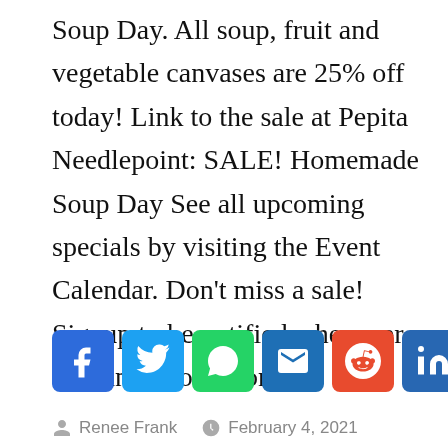Soup Day. All soup, fruit and vegetable canvases are 25% off today! Link to the sale at Pepita Needlepoint: SALE! Homemade Soup Day See all upcoming specials by visiting the Event Calendar. Don't miss a sale! Signup to be notified whenever we run a promotion.
[Figure (infographic): Row of social media share buttons: Facebook, Twitter, WhatsApp, Email, Reddit, LinkedIn, More]
Renee Frank   February 4, 2021